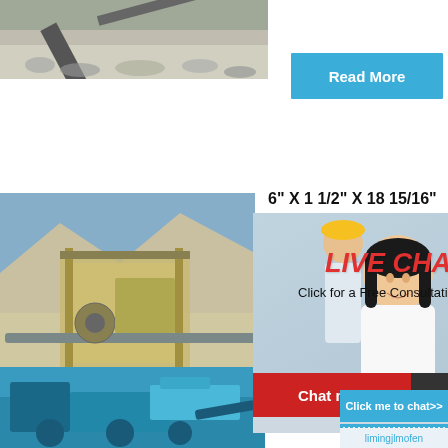[Figure (photo): Photo of quarry/gravel processing equipment with conveyor arm, top-left of page]
Read More
6" X 1 1/2" X 18 15/16"
iamond
[Figure (photo): Industrial mining/quarry equipment photo on the left side]
[Figure (photo): Live chat popup overlay with woman in white shirt and colleagues in yellow hard hats in background]
LIVE CHAT
Click for a Free Consultation
Chat now
Chat later
hour online
...
[Figure (photo): Industrial crusher/jaw crusher machine photo in right sidebar]
Read
Click me to chat>>
Enquiry
[Figure (photo): Blue industrial mobile crushing equipment photo, bottom left]
Zhengz
Diamor
Ltd.
limingjlmofen